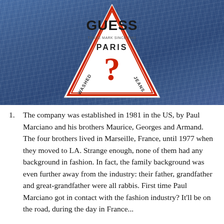[Figure (photo): Close-up photo of a GUESS jeans label on denim fabric. The triangular label reads 'GUESS PARIS' with a question mark and 'WASHED JEANS' text, featuring red and white colors on a denim blue background.]
The company was established in 1981 in the US, by Paul Marciano and his brothers Maurice, Georges and Armand. The four brothers lived in Marseille, France, until 1977 when they moved to LA. Strange enough, none of them had any background in fashion. In fact, the family background was even further away from the industry: their father, grandfather and great-grandfather were all rabbis. First time Paul Marciano got in contact with the fashion industry? It'll be on the road, during the day in France...